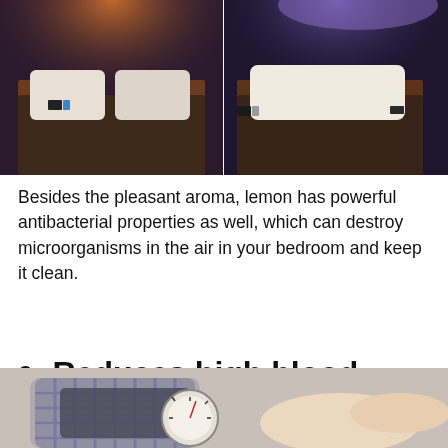[Figure (photo): Two side-by-side photos of a bedroom at night: left side shows warm orange/purple ambient lighting, right side shows cooler purple/blue ambient lighting. Both show a bed with white pillows and wooden nightstands.]
Besides the pleasant aroma, lemon has powerful antibacterial properties as well, which can destroy microorganisms in the air in your bedroom and keep it clean.
2. Reduces high blood pressure
[Figure (photo): Close-up photo of a medical professional measuring blood pressure on a patient's arm using a blood pressure cuff and gauge.]